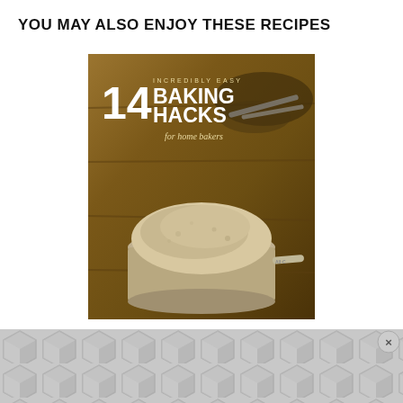YOU MAY ALSO ENJOY THESE RECIPES
[Figure (photo): Book cover or blog post image showing '14 Incredibly Easy Baking Hacks for Home Bakers' with a measuring cup full of flour on a wooden background with measuring spoons]
[Figure (other): Advertisement banner with gray hexagonal/diamond geometric pattern and a close (x) button in the bottom right corner]